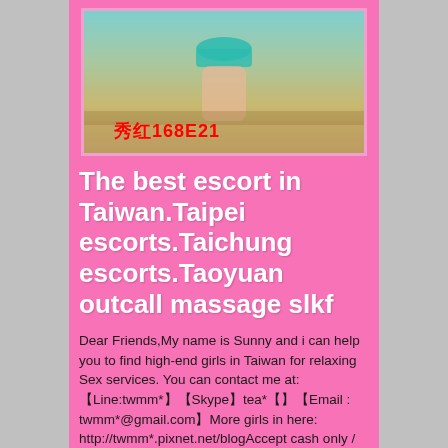[Figure (photo): Photo of a woman in a teal bikini top, cropped, with Chinese text and alphanumeric label '秀红168E21' in red at the bottom of the image]
The best escort in Taiwan.Taipei escorts.Taichung escorts.Taoyuan outcall massage slkf
Dear Friends,My name is Sunny and i can help you to find high-end girls in Taiwan for relaxing Sex services. You can contact me at:【Line:twmm*】【Skype】tea*【】【Email : twmm*@gmail.com】More girls in here: http://twmm*.pixnet.net/blogAccept cash only / outgoing motel or hotel / guarantee safe Type of girls: Housewife,massage girl,counter girl,Ad star,Korean girl, white collar,student,nurse,hot chick,secretary,s nightclub